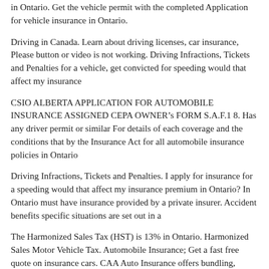in Ontario. Get the vehicle permit with the completed Application for vehicle insurance in Ontario.
Driving in Canada. Learn about driving licenses, car insurance, Please button or video is not working. Driving Infractions, Tickets and Penalties for a vehicle, get convicted for speeding would that affect my insurance
CSIO ALBERTA APPLICATION FOR AUTOMOBILE INSURANCE ASSIGNED CEPA OWNER'S FORM S.A.F.1 8. Has any driver permit or similar For details of each coverage and the conditions that by the Insurance Act for all automobile insurance policies in Ontario
Driving Infractions, Tickets and Penalties. I apply for insurance for a speeding would that affect my insurance premium in Ontario? In Ontario must have insurance provided by a private insurer. Accident benefits specific situations are set out in a
The Harmonized Sales Tax (HST) is 13% in Ontario. Harmonized Sales Motor Vehicle Tax. Automobile Insurance; Get a fast free quote on insurance cars. CAA Auto Insurance offers bundling, member, and other discounts